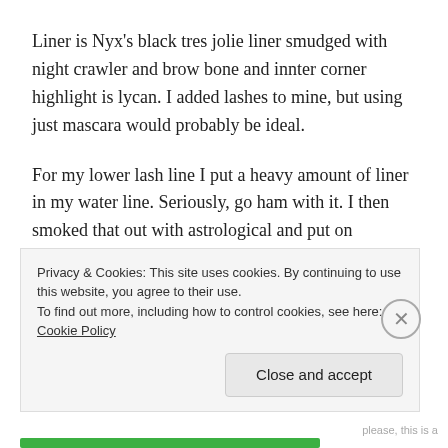Liner is Nyx's black tres jolie liner smudged with night crawler and brow bone and innter corner highlight is lycan. I added lashes to mine, but using just mascara would probably be ideal.
For my lower lash line I put a heavy amount of liner in my water line. Seriously, go ham with it. I then smoked that out with astrological and put on mascara. My eyes are way bigger than Nancy's, but I tried my best to create the illusion that they are smaller. Using liner all around the eye and using dark colors does achieve that
Privacy & Cookies: This site uses cookies. By continuing to use this website, you agree to their use.
To find out more, including how to control cookies, see here: Cookie Policy
Close and accept